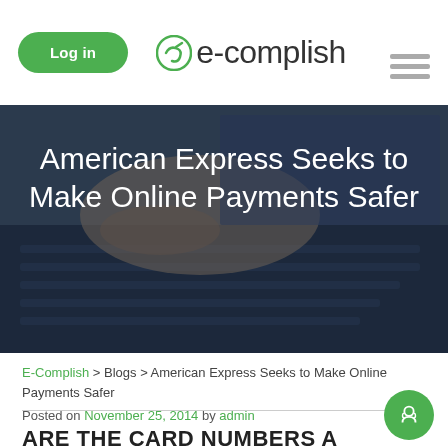Log in | e-complish
[Figure (photo): Person typing on a laptop keyboard, hero image with dark overlay]
American Express Seeks to Make Online Payments Safer
E-Complish > Blogs > American Express Seeks to Make Online Payments Safer
Posted on November 25,2014 by admin
ARE THE CARD NUMBERS A BIG WEAKNESS?